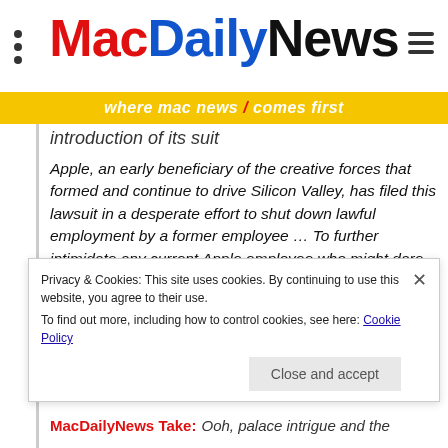MacDailyNews — where mac news / comes first
introduction of its suit
Apple, an early beneficiary of the creative forces that formed and continue to drive Silicon Valley, has filed this lawsuit in a desperate effort to shut down lawful employment by a former employee … To further intimidate any current Apple employee who might dare consider leaving Apple, Apple's complaint shows that it is monitoring and examining its employees' phone records and text
Privacy & Cookies: This site uses cookies. By continuing to use this website, you agree to their use. To find out more, including how to control cookies, see here: Cookie Policy
MacDailyNews Take: Ooh, palace intrigue and the